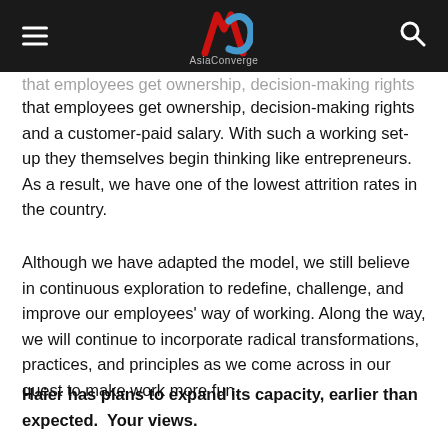AsiaConverge
that employees get ownership, decision-making rights and a customer-paid salary. With such a working set-up they themselves begin thinking like entrepreneurs. As a result, we have one of the lowest attrition rates in the country.
Although we have adapted the model, we still believe in continuous exploration to redefine, challenge, and improve our employees' way of working. Along the way, we will continue to incorporate radical transformations, practices, and principles as we come across in our quest to make work more fun.
Haier has plans to expand its capacity, earlier than expected.  Your views.
In Nov 2017, we announced the expansion of our existing